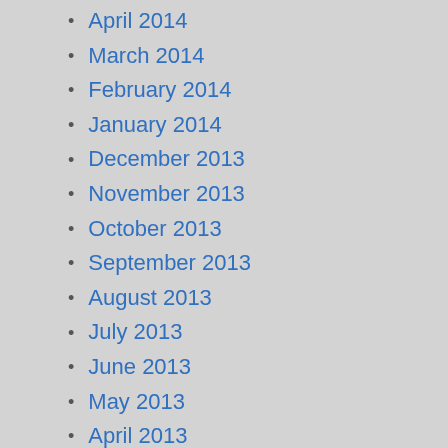April 2014
March 2014
February 2014
January 2014
December 2013
November 2013
October 2013
September 2013
August 2013
July 2013
June 2013
May 2013
April 2013
March 2013
February 2013
January 2013
December 2012
November 2012